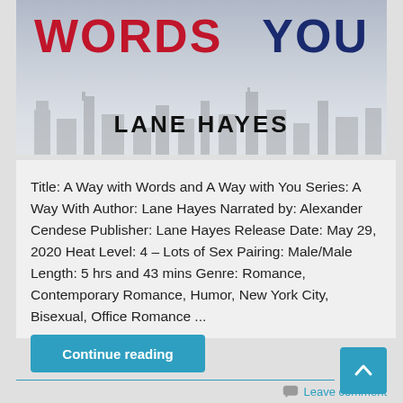[Figure (photo): Book cover image showing 'A Way with Words and A Way with You' by Lane Hayes. Red bold text 'WORDS' on the left, dark blue bold text 'YOU' on the right, with a city skyline silhouette in the background and 'LANE HAYES' in large black letters at the bottom of the cover.]
Title: A Way with Words and A Way with You Series: A Way With Author: Lane Hayes Narrated by: Alexander Cendese Publisher: Lane Hayes Release Date: May 29, 2020 Heat Level: 4 – Lots of Sex Pairing: Male/Male Length: 5 hrs and 43 mins Genre: Romance, Contemporary Romance, Humor, New York City, Bisexual, Office Romance ...
Continue reading
Leave comment